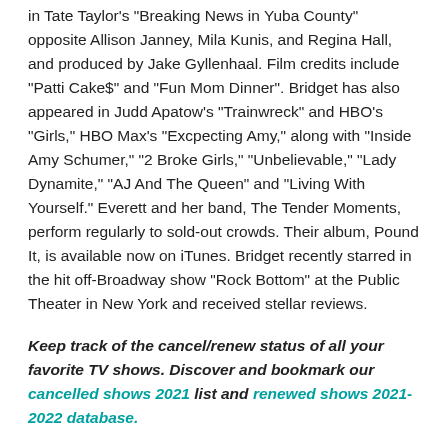in Tate Taylor's "Breaking News in Yuba County" opposite Allison Janney, Mila Kunis, and Regina Hall, and produced by Jake Gyllenhaal. Film credits include "Patti Cake$" and "Fun Mom Dinner". Bridget has also appeared in Judd Apatow's "Trainwreck" and HBO's "Girls," HBO Max's "Excpecting Amy," along with "Inside Amy Schumer," "2 Broke Girls," "Unbelievable," "Lady Dynamite," "AJ And The Queen" and "Living With Yourself." Everett and her band, The Tender Moments, perform regularly to sold-out crowds. Their album, Pound It, is available now on iTunes. Bridget recently starred in the hit off-Broadway show "Rock Bottom" at the Public Theater in New York and received stellar reviews.
Keep track of the cancel/renew status of all your favorite TV shows. Discover and bookmark our cancelled shows 2021 list and renewed shows 2021-2022 database.